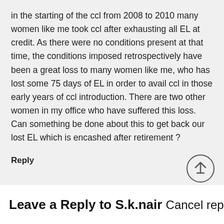in the starting of the ccl from 2008 to 2010 many women like me took ccl after exhausting all EL at credit. As there were no conditions present at that time, the conditions imposed retrospectively have been a great loss to many women like me, who has lost some 75 days of EL in order to avail ccl in those early years of ccl introduction. There are two other women in my office who have suffered this loss. Can something be done about this to get back our lost EL which is encashed after retirement ?
Reply
Leave a Reply to S.k.nair Cancel reply